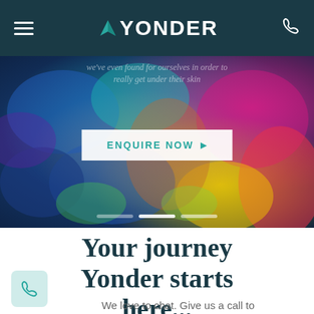YONDER navigation bar with hamburger menu and phone icon
[Figure (photo): Hero image of a person covered in colorful Holi powder, vibrant blues, pinks, yellows, and greens. An 'ENQUIRE NOW' button is overlaid in the center with carousel navigation dots below.]
Your journey Yonder starts here...
We love to chat. Give us a call to